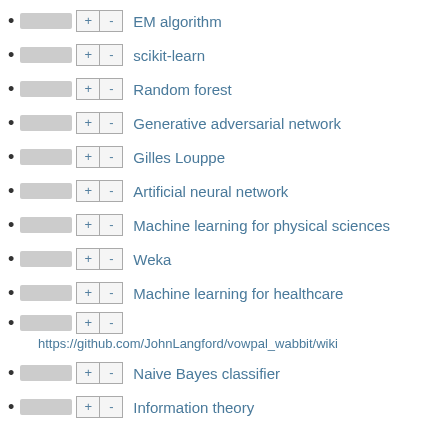EM algorithm
scikit-learn
Random forest
Generative adversarial network
Gilles Louppe
Artificial neural network
Machine learning for physical sciences
Weka
Machine learning for healthcare
https://github.com/JohnLangford/vowpal_wabbit/wiki
Naive Bayes classifier
Information theory